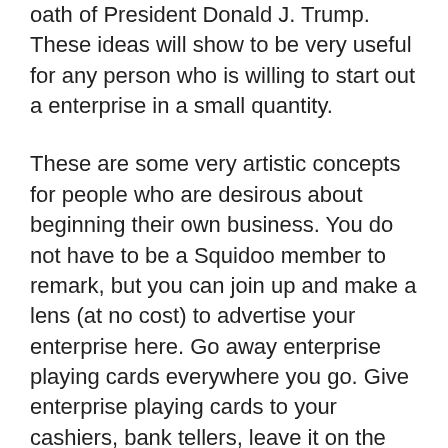oath of President Donald J. Trump. These ideas will show to be very useful for any person who is willing to start out a enterprise in a small quantity.
These are some very artistic concepts for people who are desirous about beginning their own business. You do not have to be a Squidoo member to remark, but you can join up and make a lens (at no cost) to advertise your enterprise here. Go away enterprise playing cards everywhere you go. Give enterprise playing cards to your cashiers, bank tellers, leave it on the table with a tip, leave them on counters at public places the place you see others leaving cards and ask businesses for those who could go away some there. Establishing a Facebook Enterprise Web page is kind of easy and it could bring in some new enterprise too. In addition to these shifts, I plan on adding a extra lively and ordered method, leaving much less to probability. Turn your knack for generosity into a enterprise that can produce beneficiant quantities of money for you! Learn to use SAP